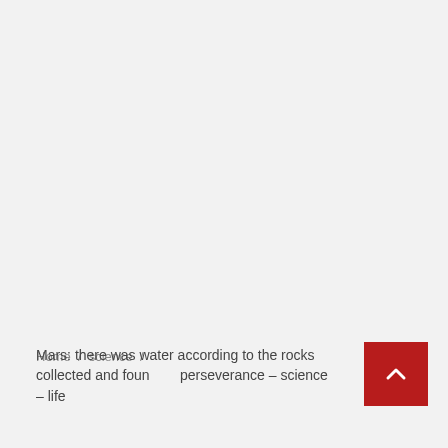Home / science /
Mars: there was water according to the rocks collected and found by perseverance – science – life